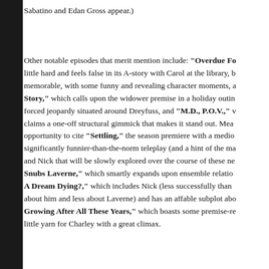Sabatino and Edan Gross appear.)
Other notable episodes that merit mention include: "Overdue Fo little hard and feels false in its A-story with Carol at the library, b memorable, with some funny and revealing character moments, a Story," which calls upon the widower premise in a holiday outin forced jeopardy situated around Dreyfuss, and "M.D., P.O.V.," v claims a one-off structural gimmick that makes it stand out. Mea opportunity to cite "Settling," the season premiere with a medio significantly funnier-than-the-norm teleplay (and a hint of the ma and Nick that will be slowly explored over the course of these ne Snubs Laverne," which smartly expands upon ensemble relatio A Dream Dying?," which includes Nick (less successfully than about him and less about Laverne) and has an affable subplot ab Growing After All These Years," which boasts some premise-r little yarn for Charley with a great climax.